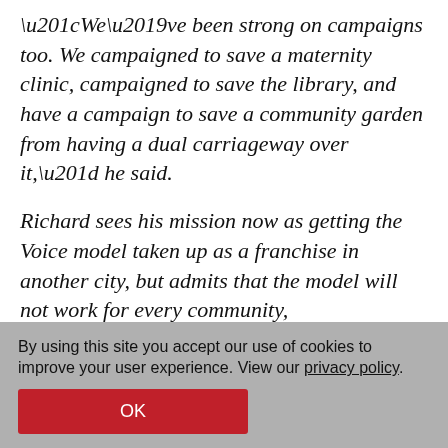“We’ve been strong on campaigns too. We campaigned to save a maternity clinic, campaigned to save the library, and have a campaign to save a community garden from having a dual carriageway over it,” he said.
Richard sees his mission now as getting the Voice model taken up as a franchise in another city, but admits that the model will not work for every community,
He said: “I’d like to see a discussion with central government about support in
By using this site you accept our use of cookies to improve your user experience. View our privacy policy.